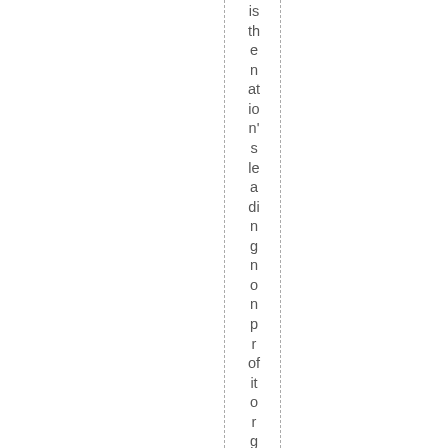is the nation's leading nonprofit organi